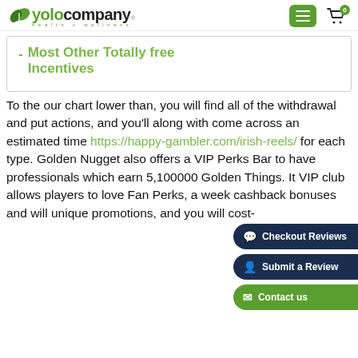yolocompany
Most Other Totally free Incentives
To the our chart lower than, you will find all of the withdrawal and put actions, and you'll along with come across an estimated time https://happy-gambler.com/irish-reels/ for each type. Golden Nugget also offers a VIP Perks Bar to have professionals which earn 5,100000 Golden Things. It VIP club allows players to love Fan Perks, a week cashback bonuses and will unique promotions, and you will cost-